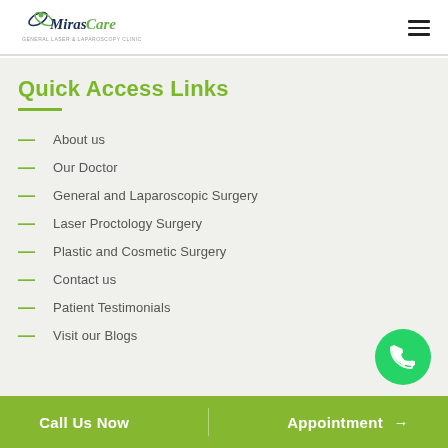Miras Care - General Laser & Laparoscopy Clinic
Quick Access Links
About us
Our Doctor
General and Laparoscopic Surgery
Laser Proctology Surgery
Plastic and Cosmetic Surgery
Contact us
Patient Testimonials
Visit our Blogs
[Figure (logo): WhatsApp contact button - green circular icon with phone handset]
Call Us Now    Appointment →